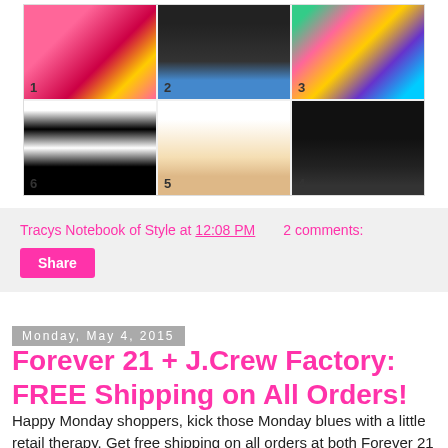[Figure (photo): Fashion collage showing 6 numbered clothing and accessories items: colorful fringe item (1), black flowing top with model (2), multicolor tote bag (3), black fringe skirt (4), white sandals (5), black and white wide-leg pants (6).]
Tracys Notebook of Style at 12:08 PM    2 comments:
Share
Monday, May 4, 2015
Forever 21 + J.Crew Factory: FREE Shipping on All Orders!
Happy Monday shoppers, kick those Monday blues with a little retail therapy. Get free shipping on all orders at both Forever 21 J.Crew Factory, always my favorite time to grab